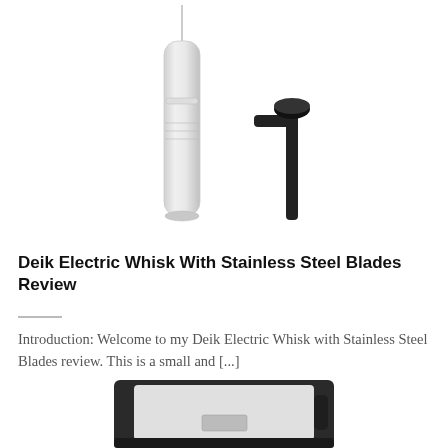[Figure (photo): Photo of a silver electric whisk/frother (tall cylindrical body) and a black L-shaped attachment, shown separated against a white background.]
Deik Electric Whisk With Stainless Steel Blades Review
Introduction: Welcome to my Deik Electric Whisk with Stainless Steel Blades review. This is a small and [...]
[Figure (photo): Partial photo of a blender or kitchen appliance (black and stainless steel) visible at the bottom of the page, cropped.]